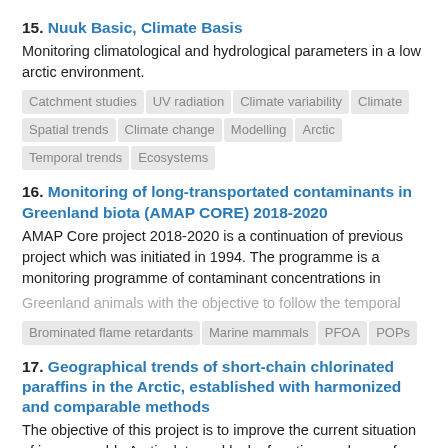15. Nuuk Basic, Climate Basis
Monitoring climatological and hydrological parameters in a low arctic environment.
Catchment studies UV radiation Climate variability Climate Spatial trends Climate change Modelling Arctic Temporal trends Ecosystems
16. Monitoring of long-transportated contaminants in Greenland biota (AMAP CORE) 2018-2020
AMAP Core project 2018-2020 is a continuation of previous project which was initiated in 1994. The programme is a monitoring programme of contaminant concentrations in Greenland animals with the objective to follow the temporal
Brominated flame retardants Marine mammals PFOA POPs
17. Geographical trends of short-chain chlorinated paraffins in the Arctic, established with harmonized and comparable methods
The objective of this project is to improve the current situation of incomparable Arctic data and lack of routine analyses of short-chain chlorinated paraffins (SCCPs). The